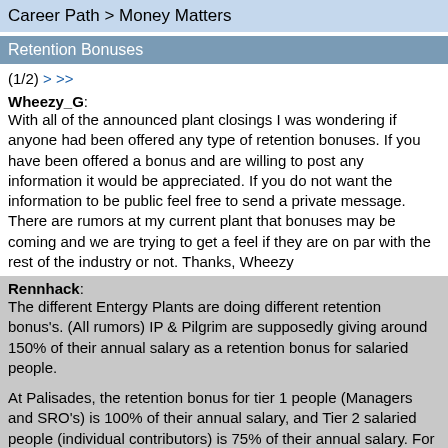Career Path > Money Matters
Retention Bonuses
(1/2) > >>
Wheezy_G: With all of the announced plant closings I was wondering if anyone had been offered any type of retention bonuses. If you have been offered a bonus and are willing to post any information it would be appreciated. If you do not want the information to be public feel free to send a private message. There are rumors at my current plant that bonuses may be coming and we are trying to get a feel if they are on par with the rest of the industry or not. Thanks, Wheezy
Rennhack: The different Entergy Plants are doing different retention bonus's. (All rumors)  IP & Pilgrim are supposedly giving around 150% of their annual salary as a retention bonus for salaried people.

At Palisades, the retention bonus for tier 1 people (Managers and SRO's) is 100% of their annual salary, and Tier 2 salaried people (individual contributors) is 75% of their annual salary.  For Palisades, 25% of your bonus is paid after the outage, and 75%